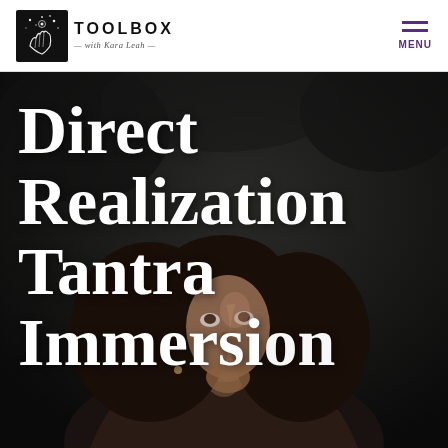TOOLBOX with Kara Leah — MENU
[Figure (photo): Dark moody outdoor photo of a woman with long hair looking upward, face partially visible, against a dark blurred forest background]
Direct Realization Tantra Immersion